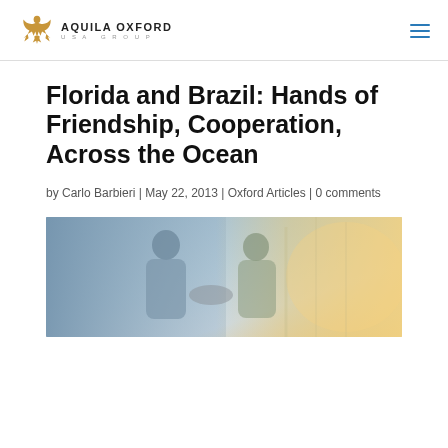[Figure (logo): Aquila Oxford USA Group logo with eagle emblem and text]
Florida and Brazil: Hands of Friendship, Cooperation, Across the Ocean
by Carlo Barbieri | May 22, 2013 | Oxford Articles | 0 comments
[Figure (photo): Two businesspeople shaking hands in an industrial or port setting, with bright warm light in background]